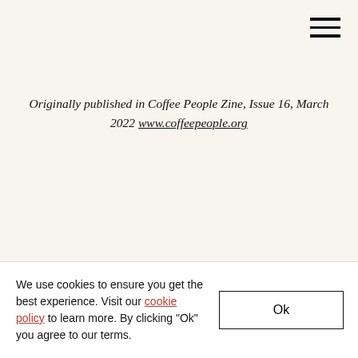≡ (hamburger menu icon)
Originally published in Coffee People Zine, Issue 16, March 2022 www.coffeepeople.org
First light slid into the murky haze of old
We use cookies to ensure you get the best experience. Visit our cookie policy to learn more. By clicking "Ok" you agree to our terms.